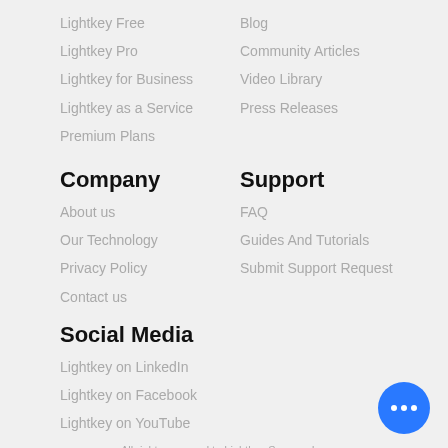Lightkey Free
Blog
Lightkey Pro
Community Articles
Lightkey for Business
Video Library
Lightkey as a Service
Press Releases
Premium Plans
Company
Support
About us
FAQ
Our Technology
Guides And Tutorials
Privacy Policy
Submit Support Request
Contact us
Social Media
Lightkey on LinkedIn
Lightkey on Facebook
Lightkey on YouTube
All rights reserved to Lightkey Sources L... Lightkey - #1 text prediction software for W...